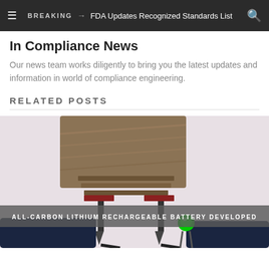BREAKING → FDA Updates Recognized Standards List
In Compliance News
Our news team works diligently to bring you the latest updates and information in world of compliance engineering.
RELATED POSTS
[Figure (photo): Photo of an all-carbon lithium rechargeable battery with electrodes connected to a green LED light, shown against a light background. A brown metallic pouch battery cell is visible at the top, with black wires and electrode clips.]
ALL-CARBON LITHIUM RECHARGEABLE BATTERY DEVELOPED